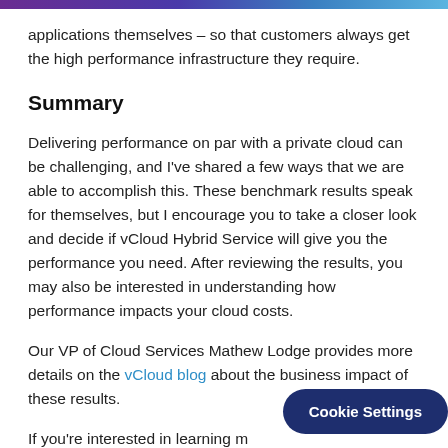applications themselves – so that customers always get the high performance infrastructure they require.
Summary
Delivering performance on par with a private cloud can be challenging, and I've shared a few ways that we are able to accomplish this. These benchmark results speak for themselves, but I encourage you to take a closer look and decide if vCloud Hybrid Service will give you the performance you need. After reviewing the results, you may also be interested in understanding how performance impacts your cloud costs.
Our VP of Cloud Services Mathew Lodge provides more details on the vCloud blog about the business impact of these results.
If you're interested in learning m